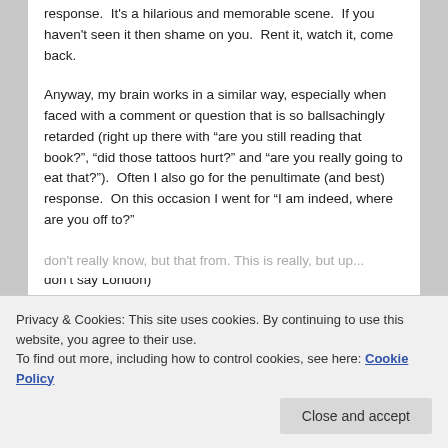response.  It's a hilarious and memorable scene.  If you haven't seen it then shame on you.  Rent it, watch it, come back.
Anyway, my brain works in a similar way, especially when faced with a comment or question that is so ballsachingly retarded (right up there with "are you still reading that book?", "did those tattoos hurt?" and "are you really going to eat that?").  Often I also go for the penultimate (and best) response.  On this occasion I went for "I am indeed, where are you off to?"
(Please don't say London, please don't say London, please don't say London)
don't really know, but that from. This is really, but up...
Privacy & Cookies: This site uses cookies. By continuing to use this website, you agree to their use.
To find out more, including how to control cookies, see here: Cookie Policy